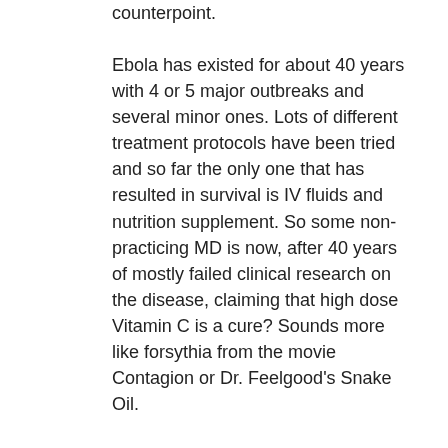counterpoint.
Ebola has existed for about 40 years with 4 or 5 major outbreaks and several minor ones. Lots of different treatment protocols have been tried and so far the only one that has resulted in survival is IV fluids and nutrition supplement. So some non-practicing MD is now, after 40 years of mostly failed clinical research on the disease, claiming that high dose Vitamin C is a cure? Sounds more like forsythia from the movie Contagion or Dr. Feelgood's Snake Oil.
While I do believe, through research, that Vitamin C has health benefits, that's why I take 500MG every day and increase to 2000mg when I get a rare cold, I also believe that massive doses of Vitamins can be just as detrimental as taking none.